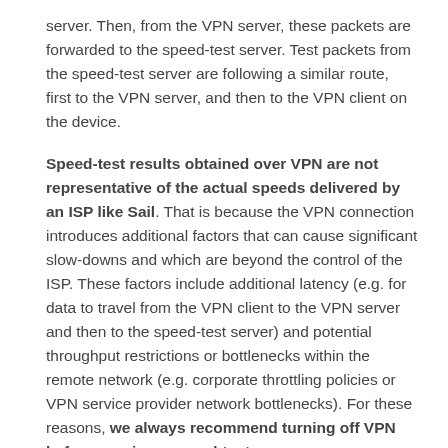server. Then, from the VPN server, these packets are forwarded to the speed-test server. Test packets from the speed-test server are following a similar route, first to the VPN server, and then to the VPN client on the device.
Speed-test results obtained over VPN are not representative of the actual speeds delivered by an ISP like Sail. That is because the VPN connection introduces additional factors that can cause significant slow-downs and which are beyond the control of the ISP. These factors include additional latency (e.g. for data to travel from the VPN client to the VPN server and then to the speed-test server) and potential throughput restrictions or bottlenecks within the remote network (e.g. corporate throttling policies or VPN service provider network bottlenecks). For these reasons, we always recommend turning off VPN before running a speed-test.